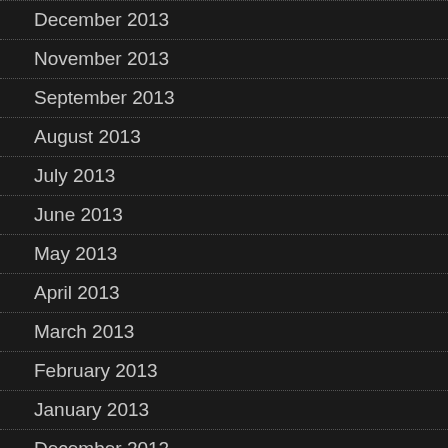December 2013
November 2013
September 2013
August 2013
July 2013
June 2013
May 2013
April 2013
March 2013
February 2013
January 2013
December 2012
November 2012